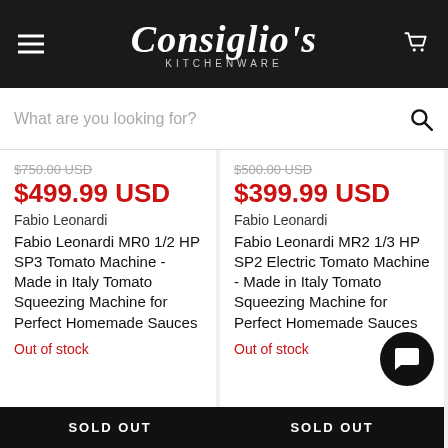Consiglio's Kitchenware
What are you looking for?
$750.00 USD
$499.99 USD
Fabio Leonardi
Fabio Leonardi MR0 1/2 HP SP3 Tomato Machine - Made in Italy Tomato Squeezing Machine for Perfect Homemade Sauces
Out of stock
SOLD OUT
$500.00 USD
$399.99 USD
Fabio Leonardi
Fabio Leonardi MR2 1/3 HP SP2 Electric Tomato Machine - Made in Italy Tomato Squeezing Machine for Perfect Homemade Sauces
Out of stock
SOLD OUT